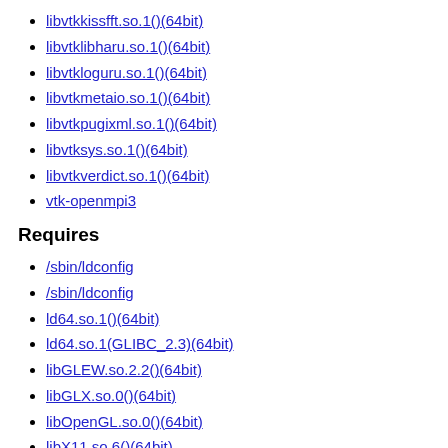libvtkkissfft.so.1()(64bit)
libvtklibharu.so.1()(64bit)
libvtkloguru.so.1()(64bit)
libvtkmetaio.so.1()(64bit)
libvtkpugixml.so.1()(64bit)
libvtksys.so.1()(64bit)
libvtkverdict.so.1()(64bit)
vtk-openmpi3
Requires
/sbin/ldconfig
/sbin/ldconfig
ld64.so.1()(64bit)
ld64.so.1(GLIBC_2.3)(64bit)
libGLEW.so.2.2()(64bit)
libGLX.so.0()(64bit)
libOpenGL.so.0()(64bit)
libX11.so.6()(64bit)
libc.so.6()(64bit)
libc.so.6(GLIBC_2.11)(64bit)
libc.so.6(GLIBC_2.15)(64bit)
libc.so.6(GLIBC_2.17)(64bit)
libc.so.6(GLIBC_2.2)(64bit)
libc.so.6(GLIBC_2.3)(64bit)